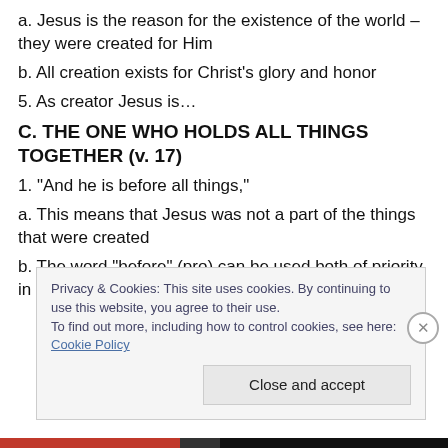a. Jesus is the reason for the existence of the world – they were created for Him
b. All creation exists for Christ's glory and honor
5. As creator Jesus is…
C. THE ONE WHO HOLDS ALL THINGS TOGETHER (v. 17)
1. “And he is before all things,”
a. This means that Jesus was not a part of the things that were created
b. The word “before” (pro) can be used both of priority in time and rank – perhaps Paul intended both ideas –
Privacy & Cookies: This site uses cookies. By continuing to use this website, you agree to their use.
To find out more, including how to control cookies, see here: Cookie Policy